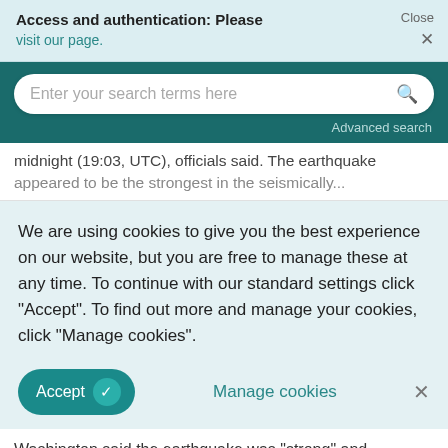Access and authentication: Please visit our page.   Close ×
Enter your search terms here   Advanced search
midnight (19:03, UTC), officials said. The earthquake appeared to be the strongest in the seismically...
We are using cookies to give you the best experience on our website, but you are free to manage these at any time. To continue with our standard settings click "Accept". To find out more and manage your cookies, click "Manage cookies".
Accept ✓   Manage cookies   ×
Washington said the earthquake was "strong" and measured 6.6 on the Richter scale. Carol Didonate...